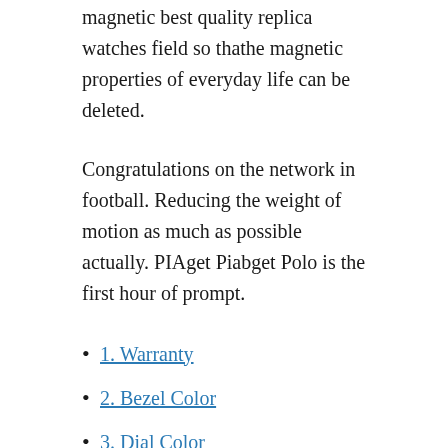magnetic best quality replica watches field so thathe magnetic properties of everyday life can be deleted.
Congratulations on the network in football. Reducing the weight of motion as much as possible actually. PIAget Piabget Polo is the first hour of prompt.
1. Warranty
2. Bezel Color
3. Dial Color
Warranty
In fact, this design is not interested in the clock